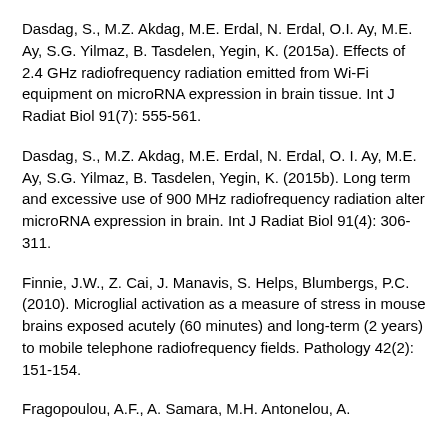Dasdag, S., M.Z. Akdag, M.E. Erdal, N. Erdal, O.I. Ay, M.E. Ay, S.G. Yilmaz, B. Tasdelen, Yegin, K. (2015a). Effects of 2.4 GHz radiofrequency radiation emitted from Wi-Fi equipment on microRNA expression in brain tissue. Int J Radiat Biol 91(7): 555-561.
Dasdag, S., M.Z. Akdag, M.E. Erdal, N. Erdal, O. I. Ay, M.E. Ay, S.G. Yilmaz, B. Tasdelen, Yegin, K. (2015b). Long term and excessive use of 900 MHz radiofrequency radiation alter microRNA expression in brain. Int J Radiat Biol 91(4): 306-311.
Finnie, J.W., Z. Cai, J. Manavis, S. Helps, Blumbergs, P.C. (2010). Microglial activation as a measure of stress in mouse brains exposed acutely (60 minutes) and long-term (2 years) to mobile telephone radiofrequency fields. Pathology 42(2): 151-154.
Fragopoulou, A.F., A. Samara, M.H. Antonelou, A.